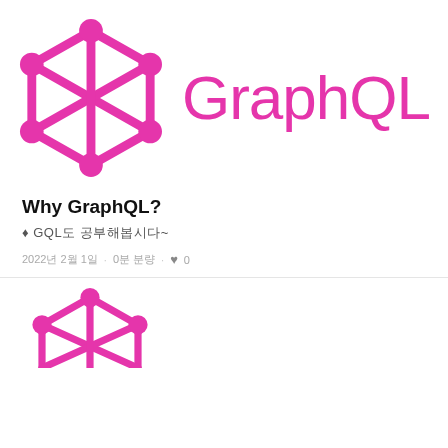[Figure (logo): GraphQL logo: pink geometric diamond/hexagon shape with nodes and connecting lines, followed by the text 'GraphQL' in pink]
Why GraphQL?
♦ GQL도 공부해봅시다~
2022년 2월 1일 · 0분 분량 · ♥ 0
[Figure (logo): Partial GraphQL logo at the bottom of the page, pink geometric icon]